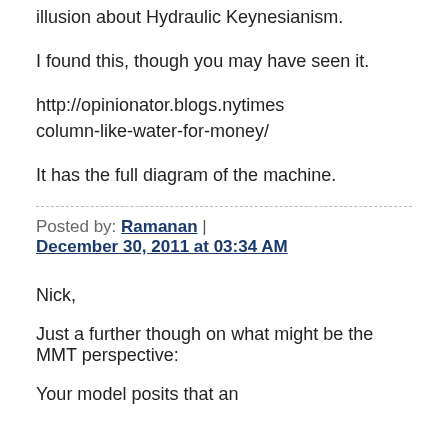illusion about Hydraulic Keynesianism.
I found this, though you may have seen it.
http://opinionator.blogs.nytimes column-like-water-for-money/
It has the full diagram of the machine.
Posted by: Ramanan | December 30, 2011 at 03:34 AM
Nick,
Just a further though on what might be the MMT perspective:
Your model posits that an